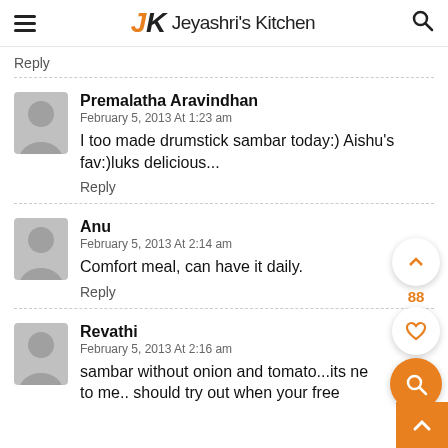Jeyashri's Kitchen
Reply
Premalatha Aravindhan
February 5, 2013 At 1:23 am
I too made drumstick sambar today:) Aishu's fav:)luks delicious...
Reply
Anu
February 5, 2013 At 2:14 am
Comfort meal, can have it daily.
Reply
Revathi
February 5, 2013 At 2:16 am
sambar without onion and tomato...its ne to me.. should try out when your free